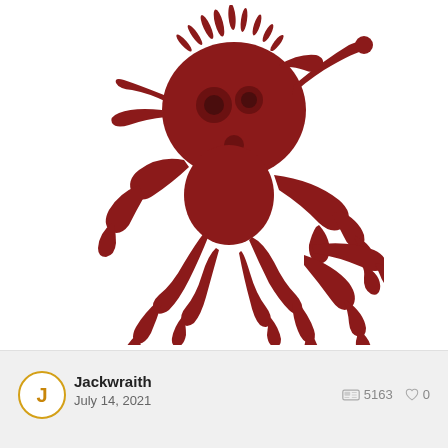[Figure (illustration): 3D render of a dark red/maroon creature with a large bulbous head, multiple tentacles, spines on top, and insect-like legs. The creature has a Cthulhu-like appearance with octopus tentacles, a spherical body with goggle-like eyes, and long spindly limbs. Rendered in uniform dark red color on a white background.]
Jackwraith
July 14, 2021
5163  0